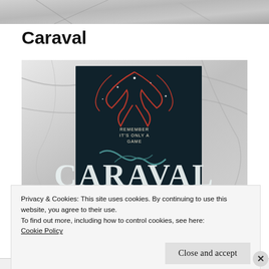[Figure (photo): Partial top view of a photo showing what appears to be crumpled fabric or paper in grayscale tones]
Caraval
[Figure (photo): Photograph of the book 'Caraval' cover placed on a white marble surface. The cover is dark/black with red flame-like decorative motifs and the title 'CARAVAL' in large stylized letters. Text on the cover reads 'REMEMBER IT'S ONLY A GAME']
Privacy & Cookies: This site uses cookies. By continuing to use this website, you agree to their use.
To find out more, including how to control cookies, see here: Cookie Policy
Close and accept
Advertisements